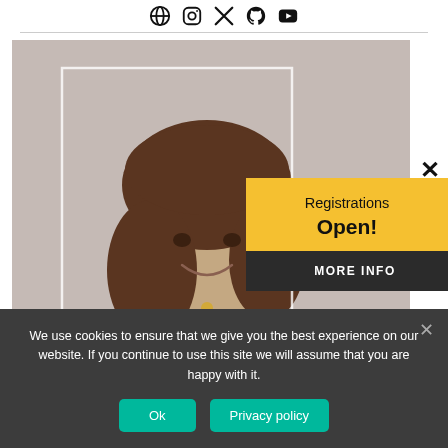[Figure (illustration): Row of social media icons (globe, Instagram, Twitter/X, GitHub, YouTube) at top of page]
[Figure (photo): Portrait photo of a young woman with shoulder-length brown hair, wearing a dark blazer and turtleneck, smiling against a light gray wall. A white rectangle border overlay appears on the photo.]
Registrations Open!
MORE INFO
We use cookies to ensure that we give you the best experience on our website. If you continue to use this site we will assume that you are happy with it.
Ok
Privacy policy